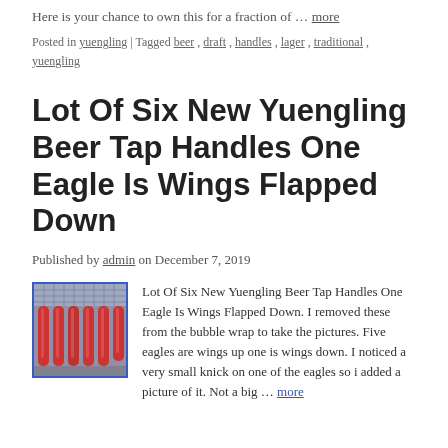Here is your chance to own this for a fraction of … more
Posted in yuengling | Tagged beer , draft , handles , lager , traditional , yuengling
Lot Of Six New Yuengling Beer Tap Handles One Eagle Is Wings Flapped Down
Published by admin on December 7, 2019
[Figure (photo): Six Yuengling beer tap handles with red eagle designs mounted on a rack/shelf with diamond mesh background]
Lot Of Six New Yuengling Beer Tap Handles One Eagle Is Wings Flapped Down. I removed these from the bubble wrap to take the pictures. Five eagles are wings up one is wings down. I noticed a very small knick on one of the eagles so i added a picture of it. Not a big … more